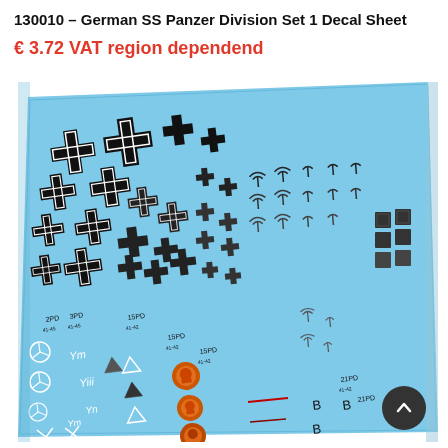130010 – German SS Panzer Division Set 1 Decal Sheet
€ 3.72 VAT region dependend
[Figure (photo): Product photo of a decal sheet for German SS Panzer Division Set 1. The sheet has a light blue background and contains various military markings including black Iron Cross symbols of various sizes, white divisional insignia, unit labels such as '2PD', '3PD', '15PD', '21PD', small arrow/antenna symbols, orange-and-black flame/skull symbols, and various other tactical markings arranged in rows across the sheet. The sheet is photographed at a slight angle.]